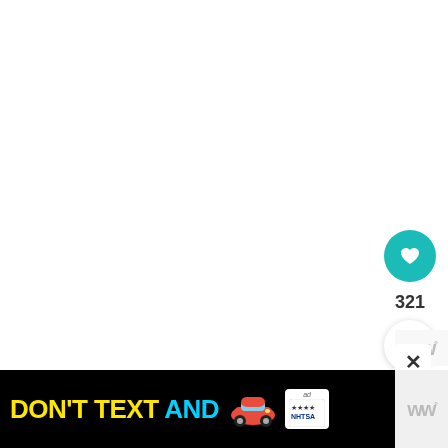[Figure (screenshot): White content area (main document body, mostly blank/white)]
[Figure (infographic): Social interaction buttons: heart/like button (teal circle with heart icon), count '321', and share button (white circle with share icon)]
321
[Figure (infographic): "WHAT'S NEXT" card with dog thumbnail and text '7 Tips For Taking Your...']
[Figure (screenshot): Ad banner: 'DON'T TEXT AND' in yellow and cyan with a red car emoji, NHTSA/ad badge, and close button. Wattpad logo on right.]